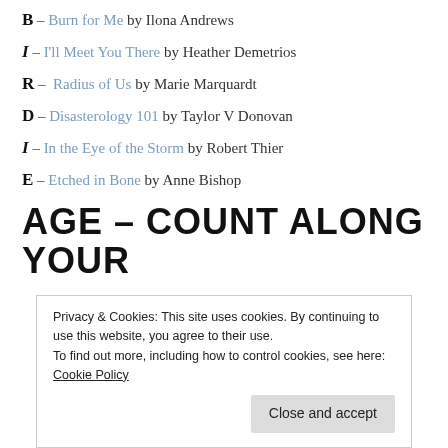B – Burn for Me by Ilona Andrews
I – I'll Meet You There by Heather Demetrios
R – Radius of Us by Marie Marquardt
D – Disasterology 101 by Taylor V Donovan
I – In the Eye of the Storm by Robert Thier
E – Etched in Bone by Anne Bishop
AGE – COUNT ALONG YOUR
Privacy & Cookies: This site uses cookies. By continuing to use this website, you agree to their use.
To find out more, including how to control cookies, see here: Cookie Policy